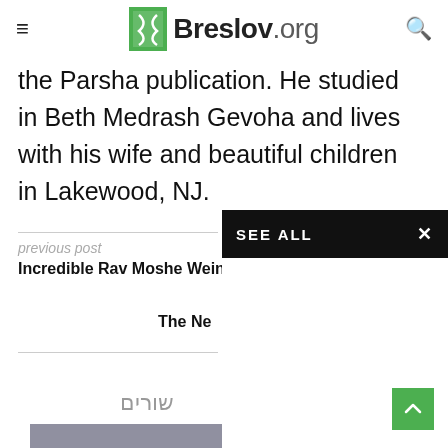Breslov.org
the Parsha publication. He studied in Beth Medrash Gevoha and lives with his wife and beautiful children in Lakewood, NJ.
previous post
Incredible Rav Moshe Wein
The Ne
שורים
[Figure (photo): Thumbnail image at bottom left, appears to be a grainy/textured photograph]
[Figure (screenshot): SEE ALL overlay panel with black header and X close button on right side of page]